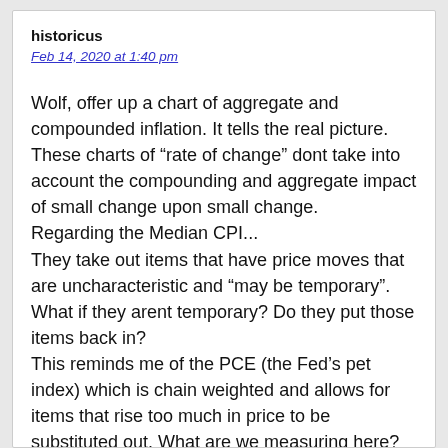historicus
Feb 14, 2020 at 1:40 pm
Wolf, offer up a chart of aggregate and compounded inflation. It tells the real picture. These charts of “rate of change” dont take into account the compounding and aggregate impact of small change upon small change.
Regarding the Median CPI...
They take out items that have price moves that are uncharacteristic and “may be temporary”. What if they arent temporary? Do they put those items back in?
This reminds me of the PCE (the Fed’s pet index) which is chain weighted and allows for items that rise too much in price to be substituted out. What are we measuring here? Leave them in. If the price